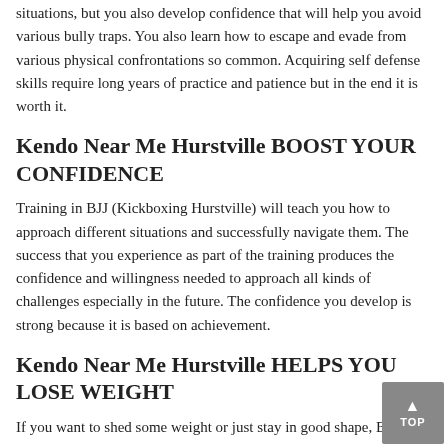situations, but you also develop confidence that will help you avoid various bully traps. You also learn how to escape and evade from various physical confrontations so common. Acquiring self defense skills require long years of practice and patience but in the end it is worth it.
Kendo Near Me Hurstville BOOST YOUR CONFIDENCE
Training in BJJ (Kickboxing Hurstville) will teach you how to approach different situations and successfully navigate them. The success that you experience as part of the training produces the confidence and willingness needed to approach all kinds of challenges especially in the future. The confidence you develop is strong because it is based on achievement.
Kendo Near Me Hurstville HELPS YOU LOSE WEIGHT
If you want to shed some weight or just stay in good shape, BJJ is an